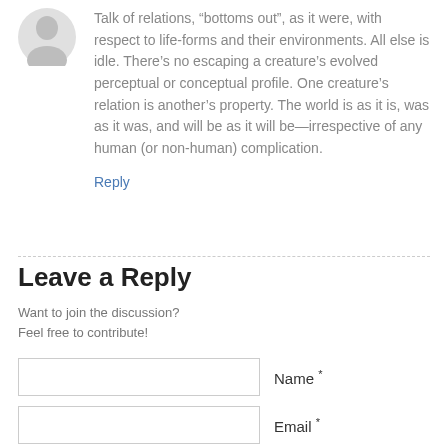[Figure (illustration): Gray avatar/profile icon silhouette]
Talk of relations, “bottoms out”, as it were, with respect to life-forms and their environments. All else is idle. There’s no escaping a creature’s evolved perceptual or conceptual profile. One creature’s relation is another’s property. The world is as it is, was as it was, and will be as it will be—irrespective of any human (or non-human) complication.
Reply
Leave a Reply
Want to join the discussion?
Feel free to contribute!
Name *
Email *